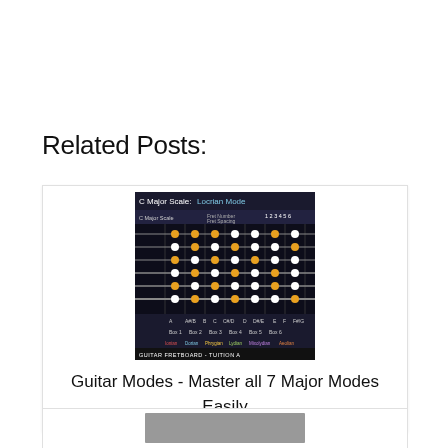Related Posts:
[Figure (screenshot): Screenshot of a guitar fretboard diagram showing C Major Scale: Locrian Mode with colored dots on frets and labeled strings and boxes]
Guitar Modes - Master all 7 Major Modes Easily